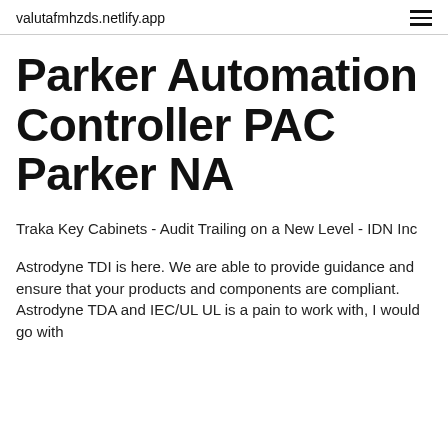valutafmhzds.netlify.app
Parker Automation Controller PAC Parker NA
Traka Key Cabinets - Audit Trailing on a New Level - IDN Inc
Astrodyne TDI is here. We are able to provide guidance and ensure that your products and components are compliant. Astrodyne TDA and IEC/UL UL is a pain to work with, I would go with